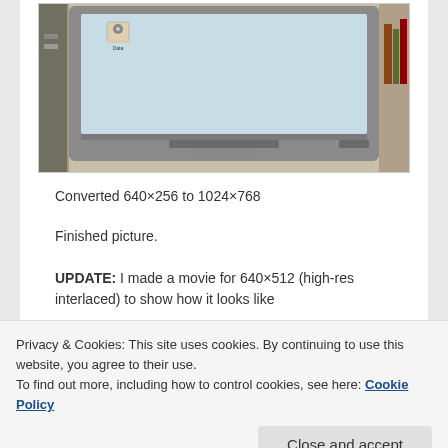[Figure (photo): Old CRT monitor displaying a desktop with a light blue/gray background and a small hard drive icon labeled 'Data' in the upper left area of the screen.]
Converted 640×256 to 1024×768
Finished picture.
UPDATE: I made a movie for 640×512 (high-res interlaced) to show how it looks like
Privacy & Cookies: This site uses cookies. By continuing to use this website, you agree to their use.
To find out more, including how to control cookies, see here: Cookie Policy
[Figure (screenshot): Partial screenshot visible at the bottom of the page showing some kind of settings or configuration interface with text fields.]